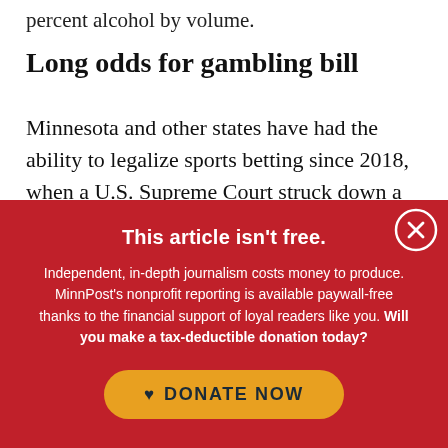percent alcohol by volume.
Long odds for gambling bill
Minnesota and other states have had the ability to legalize sports betting since 2018, when a U.S. Supreme Court struck down a federal law that
This article isn't free.
Independent, in-depth journalism costs money to produce. MinnPost's nonprofit reporting is available paywall-free thanks to the financial support of loyal readers like you. Will you make a tax-deductible donation today?
DONATE NOW